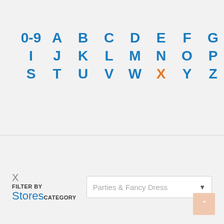[Figure (screenshot): Alphabetical index navigation with letters 0-9, A-Z arranged in rows. X is highlighted in orange, all others in blue.]
X Stores FILTER BY CATEGORY
Parties & Fancy Dress